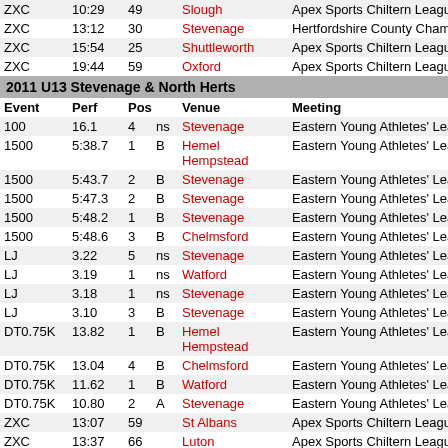| Event | Perf | Pos |  | Venue | Meeting |
| --- | --- | --- | --- | --- | --- |
| ZXC | 10:29 | 49 |  | Slough | Apex Sports Chiltern League |
| ZXC | 13:12 | 30 |  | Stevenage | Hertfordshire County Champion… |
| ZXC | 15:54 | 25 |  | Shuttleworth | Apex Sports Chiltern League |
| ZXC | 19:44 | 59 |  | Oxford | Apex Sports Chiltern League |
| 2011 U13 Stevenage & North Herts |  |  |  |  |  |
| Event | Perf | Pos |  | Venue | Meeting |
| 100 | 16.1 | 4 | ns | Stevenage | Eastern Young Athletes' League |
| 1500 | 5:38.7 | 1 | B | Hemel Hempstead | Eastern Young Athletes' League |
| 1500 | 5:43.7 | 2 | B | Stevenage | Eastern Young Athletes' League |
| 1500 | 5:47.3 | 2 | B | Stevenage | Eastern Young Athletes' League |
| 1500 | 5:48.2 | 1 | B | Stevenage | Eastern Young Athletes' League |
| 1500 | 5:48.6 | 3 | B | Chelmsford | Eastern Young Athletes' League |
| LJ | 3.22 | 5 | ns | Stevenage | Eastern Young Athletes' League |
| LJ | 3.19 | 1 | ns | Watford | Eastern Young Athletes' League |
| LJ | 3.18 | 1 | ns | Stevenage | Eastern Young Athletes' League |
| LJ | 3.10 | 3 | B | Stevenage | Eastern Young Athletes' League |
| DT0.75K | 13.82 | 1 | B | Hemel Hempstead | Eastern Young Athletes' League |
| DT0.75K | 13.04 | 4 | B | Chelmsford | Eastern Young Athletes' League |
| DT0.75K | 11.62 | 1 | B | Watford | Eastern Young Athletes' League |
| DT0.75K | 10.80 | 2 | A | Stevenage | Eastern Young Athletes' League |
| ZXC | 13:07 | 59 |  | St Albans | Apex Sports Chiltern League |
| ZXC | 13:37 | 66 |  | Luton | Apex Sports Chiltern League |
| ZXC | 13:41 | 67 |  | Wing | Apex Sports Chiltern League |
| ZXCL | 9:46 | 9 | LB | Bricklersyde | SEAA Relay Championships |